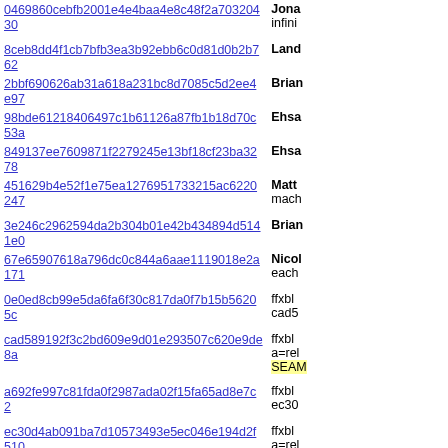| Hash | Description |
| --- | --- |
| 0469860cebfb2001e4e4baa4e8c48f2a70320430 | Jona infini |
| 8ceb8dd4f1cb7bfb3ea3b92ebb6c0d81d0b2b762 | Land |
| 2bbf690626ab31a618a231bc8d7085c5d2ee4e97 | Brian |
| 98bde61218406497c1b61126a87fb1b18d70c53a | Ehsa |
| 849137ee7609871f2279245e13bf18cf23ba3278 | Ehsa |
| 451629b4e52f1e75ea1276951733215ac6220247 | Matt mach |
| 3e246c2962594da2b304b01e42b434894d5141e0 | Brian |
| 67e65907618a796dc0c844a6aae1119018e2a171 | Nicol each |
| 0e0ed8cb99e5da6fa6f30c817da0f7b15b56205c | ffxbl cad5 |
| cad589192f3c2bd609e9d01e293507c620e9de8a | ffxbl a=rel SEAM |
| a692fe997c81fda0f2987ada02f15fa65ad8e7c2 | ffxbl ec30 |
| ec30d4ab091ba7d10573493e5ec046e194d2f510 | ffxbl a=rel |
| 3e3adfa92d20f58828d281e5bc75c46bffe53d18 | Brian |
| 27cbeb1cb920d0f5552f829dff18860eeb066fc4 | Luca |
| 6b778c9a38c0290bb343425d2bf430d6115680a7 | Luca a=ak |
| 44a038b9e733ca95a1df01b2f4c2bf7bb7fe5186 | Luca (r=m |
| 375ae9107d45a19a043d53b9304c3d3745b3d9aa | Luca |